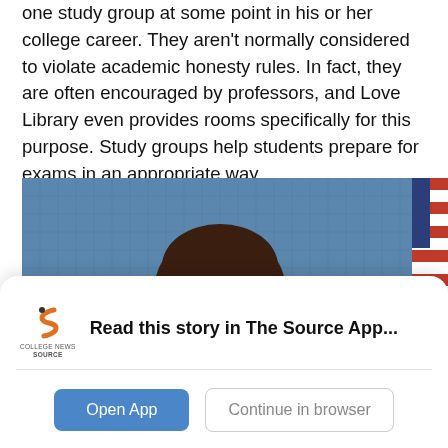one study group at some point in his or her college career. They aren't normally considered to violate academic honesty rules. In fact, they are often encouraged by professors, and Love Library even provides rooms specifically for this purpose. Study groups help students prepare for exams in an appropriate way.
[Figure (photo): A woman with brown hair speaking at a podium or event, with a blue textured backdrop and an American flag visible at the right edge.]
Read this story in The Source App...
Open App | Continue in browser